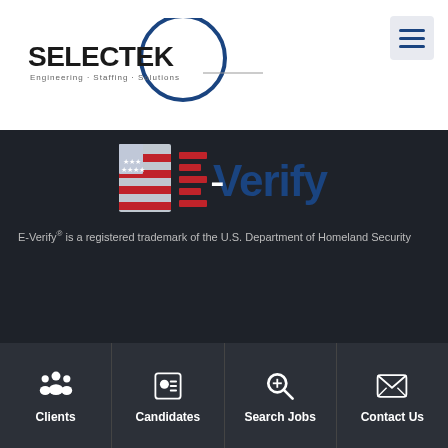[Figure (logo): Selectek Engineering Staffing Solutions logo with circular blue arc and hamburger menu icon]
[Figure (logo): E-Verify logo with US flag and blue text on dark background]
E-Verify® is a registered trademark of the U.S. Department of Homeland Security
© 2022 Selectek | Privacy | Sitemap
Site Credits
[Figure (infographic): Bottom navigation bar with Clients, Candidates, Search Jobs, Contact Us icons]